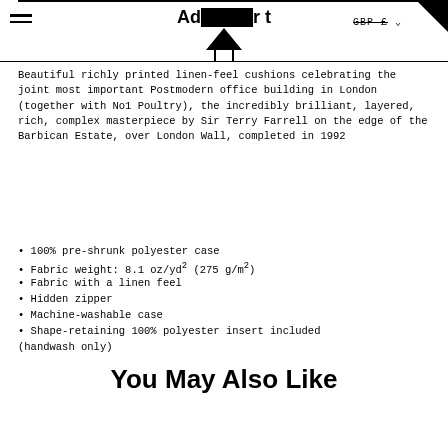Ad[redacted]rt  GBP £
Beautiful richly printed linen-feel cushions celebrating the joint most important Postmodern office building in London (together with No1 Poultry), the incredibly brilliant, layered, rich, complex masterpiece by Sir Terry Farrell on the edge of the Barbican Estate, over London Wall, completed in 1992
100% pre-shrunk polyester case
Fabric weight: 8.1 oz/yd² (275 g/m²)
Fabric with a linen feel
Hidden zipper
Machine-washable case
Shape-retaining 100% polyester insert included (handwash only)
You May Also Like